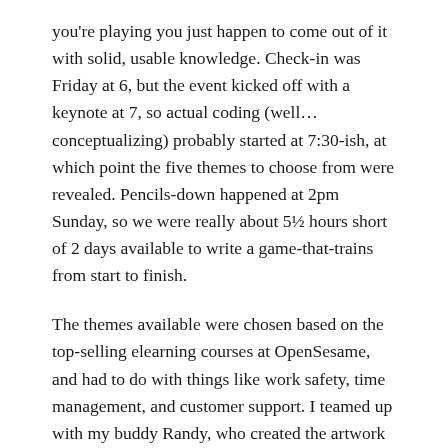you're playing you just happen to come out of it with solid, usable knowledge. Check-in was Friday at 6, but the event kicked off with a keynote at 7, so actual coding (well… conceptualizing) probably started at 7:30-ish, at which point the five themes to choose from were revealed. Pencils-down happened at 2pm Sunday, so we were really about 5½ hours short of 2 days available to write a game-that-trains from start to finish.
The themes available were chosen based on the top-selling elearning courses at OpenSesame, and had to do with things like work safety, time management, and customer support. I teamed up with my buddy Randy, who created the artwork for the game while I did the code, and we chose Fire Extinguisher Safety as our theme.